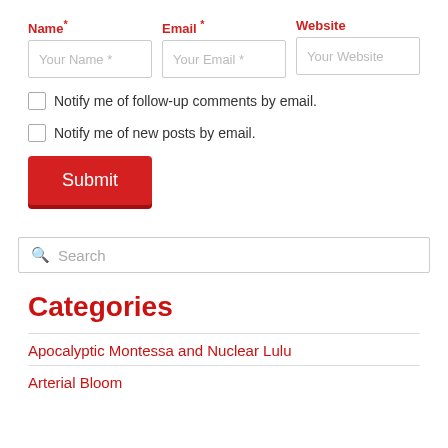Name*
Email*
Website
Your Name *
Your Email *
Your Website
Notify me of follow-up comments by email.
Notify me of new posts by email.
Submit
Search
Categories
Apocalyptic Montessa and Nuclear Lulu
Arterial Bloom